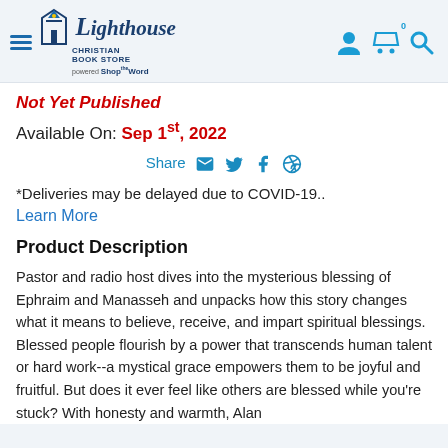Lighthouse Christian Book Store
Not Yet Published
Available On: Sep 1st, 2022
Share
*Deliveries may be delayed due to COVID-19..
Learn More
Product Description
Pastor and radio host dives into the mysterious blessing of Ephraim and Manasseh and unpacks how this story changes what it means to believe, receive, and impart spiritual blessings. Blessed people flourish by a power that transcends human talent or hard work--a mystical grace empowers them to be joyful and fruitful. But does it ever feel like others are blessed while you're stuck? With honesty and warmth, Alan